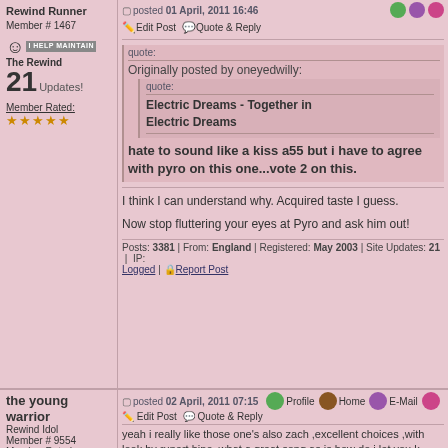Rewind Runner
Member # 1467
I HELP MAINTAIN The Rewind
21 Updates!
Member Rated:
★★★★★
posted 01 April, 2011 16:46
Edit Post   Quote & Reply
quote:
Originally posted by oneyedwilly:
quote:
Electric Dreams - Together in Electric Dreams
hate to sound like a kiss a55 but i have to agree with pyro on this one...vote 2 on this.
I think I can understand why. Acquired taste I guess.
Now stop fluttering your eyes at Pyro and ask him out!
Posts: 3381 | From: England | Registered: May 2003 | Site Updates: 21 | IP: Logged | Report Post
the young warrior
Rewind Idol
Member # 9554
Member Rated:
★★★★★
posted 02 April, 2011 07:15
Profile   Home   E-Mail
Edit Post   Quote & Reply
yeah i really like those one's also zach ,excellent choices ,with a great look by rupert hine ,what a great song as is how do i let you know by phoebe cates. how do i let you know phoebe cates - http://www.youtube.com/watch?v=ee606ryyPI8 . here's a coup